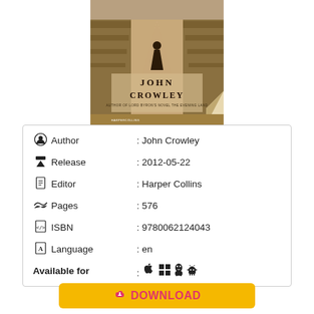[Figure (photo): Book cover of a John Crowley novel showing a woman in dark clothing standing on a dusty road lined with tall grass, with the author name JOHN CROWLEY prominently displayed.]
| Author | : John Crowley |
| Release | : 2012-05-22 |
| Editor | : Harper Collins |
| Pages | : 576 |
| ISBN | : 9780062124043 |
| Language | : en |
| Available for | : (Apple, Windows, Linux, Android) |
DOWNLOAD